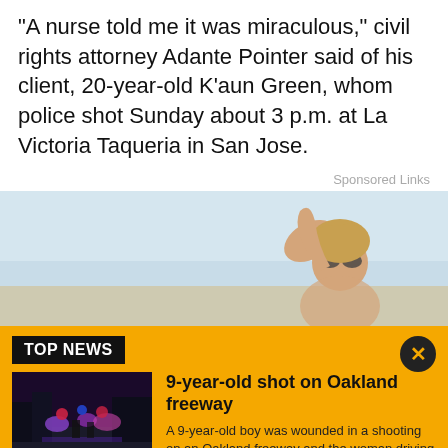"A nurse told me it was miraculous," civil rights attorney Adante Pointer said of his client, 20-year-old K'aun Green, whom police shot Sunday about 3 p.m. at La Victoria Taqueria in San Jose.
Sponsored Links
[Figure (photo): Advertisement photo showing a smiling woman with sunglasses and raised hand against a bright sky background]
TOP NEWS
[Figure (photo): News thumbnail showing police cars with lights on a street at night]
9-year-old shot on Oakland freeway
A 9-year-old boy was wounded in a shooting on an Oakland freeway and the woman driving was injured after crashing on city streets, according to the California Highway Patrol.